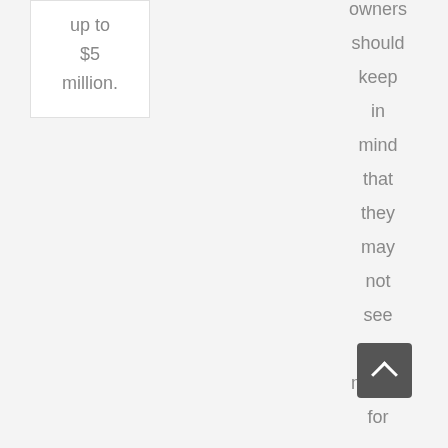up to $5 million.
owners should keep in mind that they may not see any money for